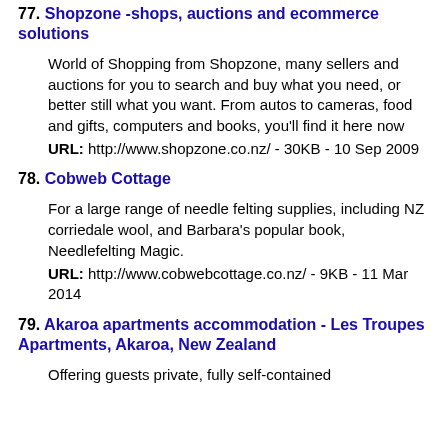77. Shopzone -shops, auctions and ecommerce solutions
World of Shopping from Shopzone, many sellers and auctions for you to search and buy what you need, or better still what you want. From autos to cameras, food and gifts, computers and books, you'll find it here now
URL: http://www.shopzone.co.nz/ - 30KB - 10 Sep 2009
78. Cobweb Cottage
For a large range of needle felting supplies, including NZ corriedale wool, and Barbara's popular book, Needlefelting Magic.
URL: http://www.cobwebcottage.co.nz/ - 9KB - 11 Mar 2014
79. Akaroa apartments accommodation - Les Troupes Apartments, Akaroa, New Zealand
Offering guests private, fully self-contained